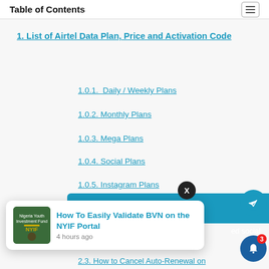Table of Contents
1. List of Airtel Data Plan, Price and Activation Code
1.0.1.  Daily / Weekly Plans
1.0.2. Monthly Plans
1.0.3. Mega Plans
1.0.4. Social Plans
1.0.5. Instagram Plans
2. Frequently Asked Questions
[Figure (screenshot): Popup notification: 'How To Easily Validate BVN on the NYIF Portal – 4 hours ago' with Nigeria Youth Investment Fund image thumbnail]
2.3. How to Cancel Auto-Renewal on